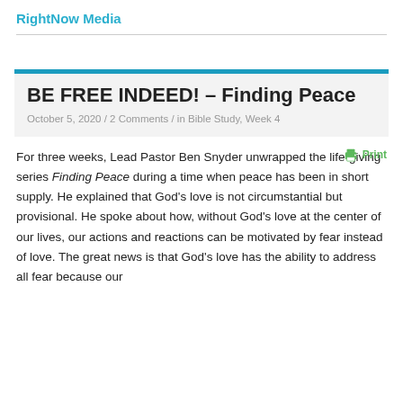RightNow Media
BE FREE INDEED! – Finding Peace
October 5, 2020 / 2 Comments / in Bible Study, Week 4
For three weeks, Lead Pastor Ben Snyder unwrapped the life-giving series Finding Peace during a time when peace has been in short supply. He explained that God's love is not circumstantial but provisional. He spoke about how, without God's love at the center of our lives, our actions and reactions can be motivated by fear instead of love. The great news is that God's love has the ability to address all fear because our...